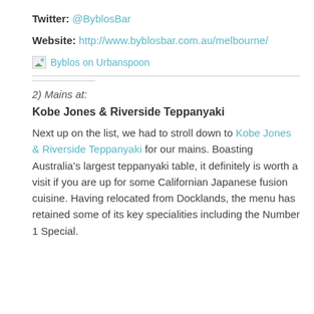Twitter: @ByblosBar
Website: http://www.byblosbar.com.au/melbourne/
[Figure (other): Broken image placeholder for Byblos on Urbanspoon badge with text link]
2) Mains at:
Kobe Jones & Riverside Teppanyaki
Next up on the list, we had to stroll down to Kobe Jones & Riverside Teppanyaki for our mains. Boasting Australia’s largest teppanyaki table, it definitely is worth a visit if you are up for some Californian Japanese fusion cuisine. Having relocated from Docklands, the menu has retained some of its key specialities including the Number 1 Special.